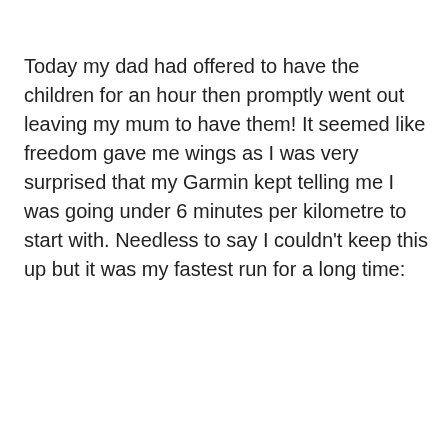Today my dad had offered to have the children for an hour then promptly went out leaving my mum to have them! It seemed like freedom gave me wings as I was very surprised that my Garmin kept telling me I was going under 6 minutes per kilometre to start with. Needless to say I couldn't keep this up but it was my fastest run for a long time: